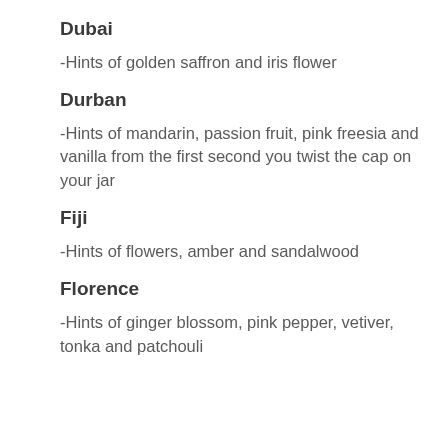Dubai
-Hints of golden saffron and iris flower
Durban
-Hints of mandarin, passion fruit, pink freesia and vanilla from the first second you twist the cap on your jar
Fiji
-Hints of flowers, amber and sandalwood
Florence
-Hints of ginger blossom, pink pepper, vetiver, tonka and patchouli